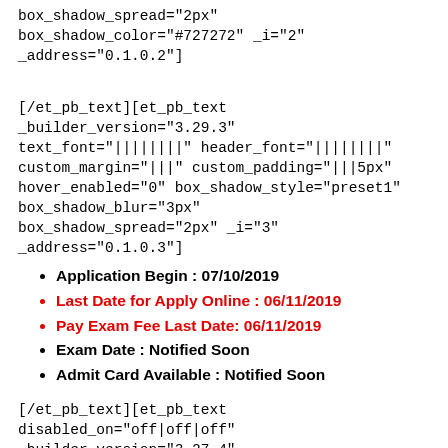box_shadow_spread="2px"
box_shadow_color="#727272" _i="2"
_address="0.1.0.2"]
[/et_pb_text][et_pb_text _builder_version="3.29.3" text_font="||||||||" header_font="||||||||"
custom_margin="|||" custom_padding="|||5px"
hover_enabled="0" box_shadow_style="preset1"
box_shadow_blur="3px"
box_shadow_spread="2px" _i="3"
_address="0.1.0.3"]
Application Begin : 07/10/2019
Last Date for Apply Online : 06/11/2019
Pay Exam Fee Last Date: 06/11/2019
Exam Date : Notified Soon
Admit Card Available : Notified Soon
[/et_pb_text][et_pb_text disabled_on="off|off|off"
_builder_version="3.27.4" text_font="|700||on|||||"
text_font_size="26px" text_line_height="1em"
header_font="||||||||"
use_background_color_gradient="on"
background_color_gradient_start="#33_3b3"